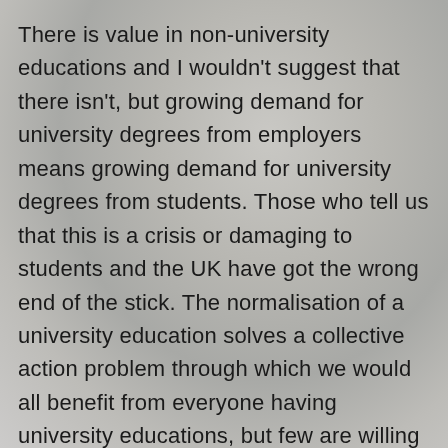There is value in non-university educations and I wouldn't suggest that there isn't, but growing demand for university degrees from employers means growing demand for university degrees from students. Those who tell us that this is a crisis or damaging to students and the UK have got the wrong end of the stick. The normalisation of a university education solves a collective action problem through which we would all benefit from everyone having university educations, but few are willing to shoulder the costs of someone else's benefit in the labour market.